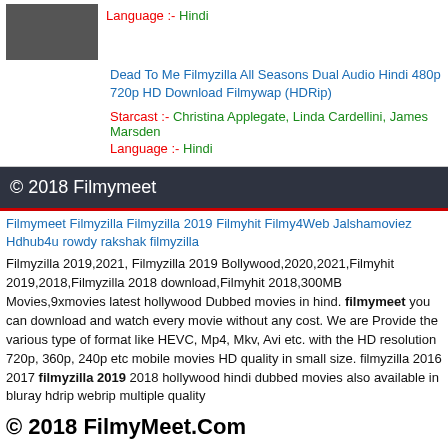Language :- Hindi
Dead To Me Filmyzilla All Seasons Dual Audio Hindi 480p 720p HD Download Filmywap (HDRip)
Starcast :- Christina Applegate, Linda Cardellini, James Marsden
Language :- Hindi
© 2018 Filmymeet
Filmymeet Filmyzilla Filmyzilla 2019 Filmyhit Filmy4Web Jalshamoviez Hdhub4u rowdy rakshak filmyzilla
Filmyzilla 2019,2021, Filmyzilla 2019 Bollywood,2020,2021,Filmyhit 2019,2018,Filmyzilla 2018 download,Filmyhit 2018,300MB Movies,9xmovies latest hollywood Dubbed movies in hind. filmymeet you can download and watch every movie without any cost. We are Provide the various type of format like HEVC, Mp4, Mkv, Avi etc. with the HD resolution 720p, 360p, 240p etc mobile movies HD quality in small size. filmyzilla 2016 2017 filmyzilla 2019 2018 hollywood hindi dubbed movies also available in bluray hdrip webrip multiple quality
© 2018 FilmyMeet.Com